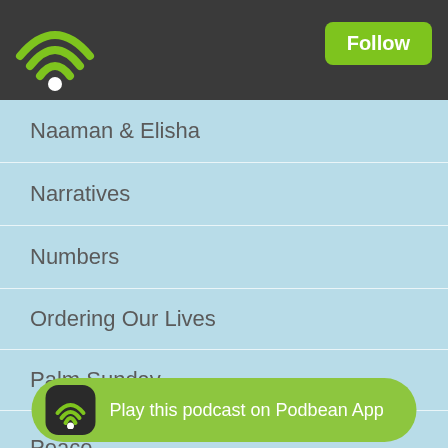[Figure (screenshot): Podbean podcast app top navigation bar with green WiFi logo on left and Follow button on right]
Naaman & Elisha
Narratives
Numbers
Ordering Our Lives
Palm Sunday
Parable of the Sower
Parable of the Talents
Parables
Passion
Pastoral Epistles
Paul
Peace
Pentecost
Play this podcast on Podbean App